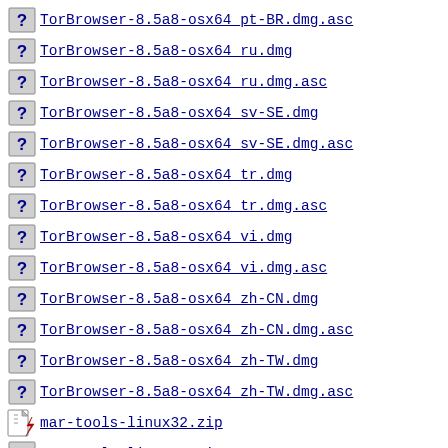TorBrowser-8.5a8-osx64_pt-BR.dmg.asc
TorBrowser-8.5a8-osx64_ru.dmg
TorBrowser-8.5a8-osx64_ru.dmg.asc
TorBrowser-8.5a8-osx64_sv-SE.dmg
TorBrowser-8.5a8-osx64_sv-SE.dmg.asc
TorBrowser-8.5a8-osx64_tr.dmg
TorBrowser-8.5a8-osx64_tr.dmg.asc
TorBrowser-8.5a8-osx64_vi.dmg
TorBrowser-8.5a8-osx64_vi.dmg.asc
TorBrowser-8.5a8-osx64_zh-CN.dmg
TorBrowser-8.5a8-osx64_zh-CN.dmg.asc
TorBrowser-8.5a8-osx64_zh-TW.dmg
TorBrowser-8.5a8-osx64_zh-TW.dmg.asc
mar-tools-linux32.zip
mar-tools-linux32.zip.asc
mar-tools-linux64.zip
mar-tools-linux64.zip.asc